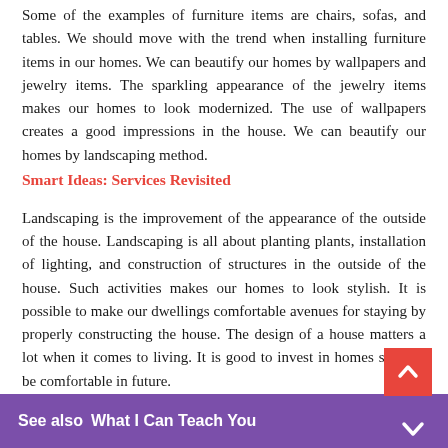Some of the examples of furniture items are chairs, sofas, and tables. We should move with the trend when installing furniture items in our homes. We can beautify our homes by wallpapers and jewelry items. The sparkling appearance of the jewelry items makes our homes to look modernized. The use of wallpapers creates a good impressions in the house. We can beautify our homes by landscaping method.
Smart Ideas: Services Revisited
Landscaping is the improvement of the appearance of the outside of the house. Landscaping is all about planting plants, installation of lighting, and construction of structures in the outside of the house. Such activities makes our homes to look stylish. It is possible to make our dwellings comfortable avenues for staying by properly constructing the house. The design of a house matters a lot when it comes to living. It is good to invest in homes so as to be comfortable in future.
Smart Ideas: Services Revisited
See also  What I Can Teach You